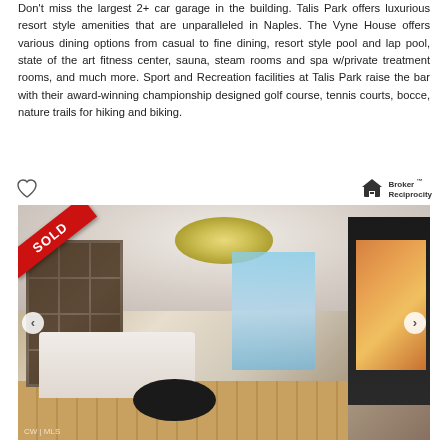Don't miss the largest 2+ car garage in the building. Talis Park offers luxurious resort style amenities that are unparalleled in Naples. The Vyne House offers various dining options from casual to fine dining, resort style pool and lap pool, state of the art fitness center, sauna, steam rooms and spa w/private treatment rooms, and much more. Sport and Recreation facilities at Talis Park raise the bar with their award-winning championship designed golf course, tennis courts, bocce, nature trails for hiking and biking.
[Figure (photo): Interior photo of a luxury condominium living room with white sectional sofa, round chandelier, hardwood floors, sliding glass doors to balcony, wall art panels, large TV on right wall. A red 'SOLD' banner overlays the top-left corner. Navigation arrows visible on left and right. Broker Reciprocity logo in top-right above photo.]